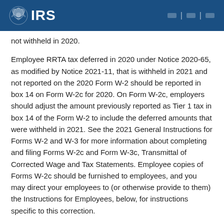IRS
not withheld in 2020.
Employee RRTA tax deferred in 2020 under Notice 2020-65, as modified by Notice 2021-11, that is withheld in 2021 and not reported on the 2020 Form W-2 should be reported in box 14 on Form W-2c for 2020. On Form W-2c, employers should adjust the amount previously reported as Tier 1 tax in box 14 of the Form W-2 to include the deferred amounts that were withheld in 2021. See the 2021 General Instructions for Forms W-2 and W-3 for more information about completing and filing Forms W-2c and Form W-3c, Transmittal of Corrected Wage and Tax Statements. Employee copies of Forms W-2c should be furnished to employees, and you may direct your employees to (or otherwise provide to them) the Instructions for Employees, below, for instructions specific to this correction.
Instructions for Employees
If you had only one employer during 2020 and your Form W-